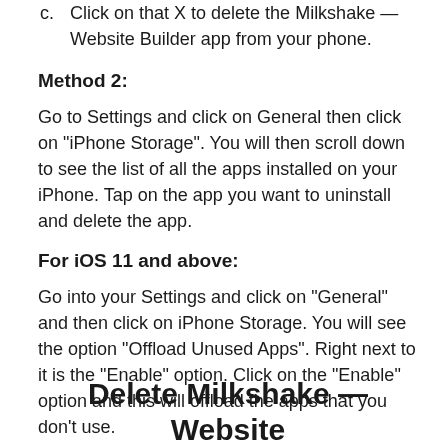c. Click on that X to delete the Milkshake — Website Builder app from your phone.
Method 2:
Go to Settings and click on General then click on "iPhone Storage". You will then scroll down to see the list of all the apps installed on your iPhone. Tap on the app you want to uninstall and delete the app.
For iOS 11 and above:
Go into your Settings and click on "General" and then click on iPhone Storage. You will see the option "Offload Unused Apps". Right next to it is the "Enable" option. Click on the "Enable" option and this will offload the apps that you don't use.
Delete Milkshake — Website